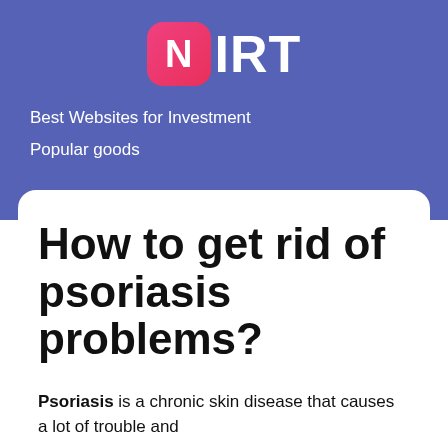[Figure (logo): NIRT logo with pink rounded square N icon and white IRT text on blue background]
Best Websites for Investment
Popular goods
How to get rid of psoriasis problems?
Psoriasis is a chronic skin disease that causes a lot of trouble and